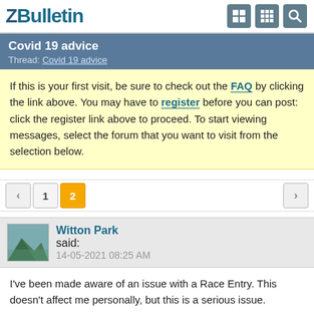vBulletin
Covid 19 advice
Thread: Covid 19 advice
If this is your first visit, be sure to check out the FAQ by clicking the link above. You may have to register before you can post: click the register link above to proceed. To start viewing messages, select the forum that you want to visit from the selection below.
1  2
Witton Park said:
14-05-2021 08:25 AM
I've been made aware of an issue with a Race Entry. This doesn't affect me personally, but this is a serious issue.

As am member it went for some review of for some issue...